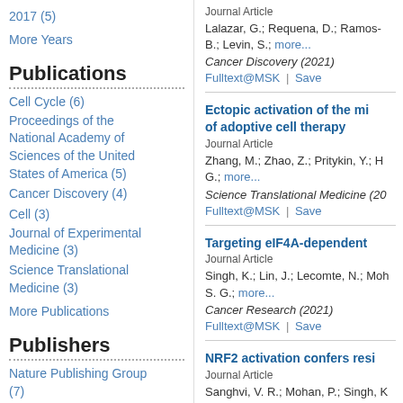2017 (5)
More Years
Publications
Cell Cycle (6)
Proceedings of the National Academy of Sciences of the United States of America (5)
Cancer Discovery (4)
Cell (3)
Journal of Experimental Medicine (3)
Science Translational Medicine (3)
More Publications
Publishers
Nature Publishing Group (7)
Journal Article
Lalazar, G.; Requena, D.; Ramos-B.; Levin, S.; more...
Cancer Discovery (2021)
Fulltext@MSK | Save
Ectopic activation of the mi of adoptive cell therapy
Journal Article
Zhang, M.; Zhao, Z.; Pritykin, Y.; H G.; more...
Science Translational Medicine (20
Fulltext@MSK | Save
Targeting eIF4A-dependent
Journal Article
Singh, K.; Lin, J.; Lecomte, N.; Moh S. G.; more...
Cancer Research (2021)
Fulltext@MSK | Save
NRF2 activation confers resi
Journal Article
Sanghvi, V. R.; Mohan, P.; Singh, K Viale, A.; more...